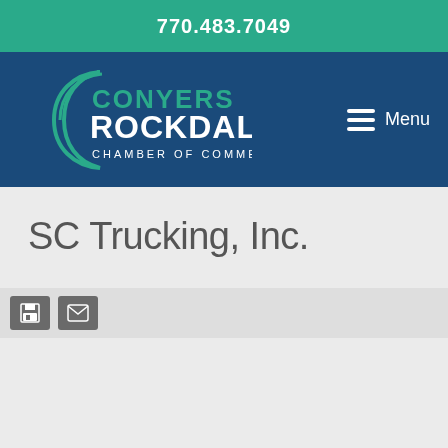770.483.7049
[Figure (logo): Conyers Rockdale Chamber of Commerce logo with crescent moon graphic, white text on navy background]
SC Trucking, Inc.
Trucking/Freight Broker
SC Trucking,